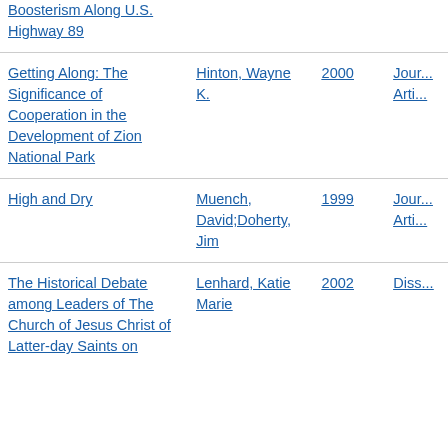| Title | Author | Year | Type |
| --- | --- | --- | --- |
| Boosterism Along U.S. Highway 89 |  |  |  |
| Getting Along: The Significance of Cooperation in the Development of Zion National Park | Hinton, Wayne K. | 2000 | Journal Article |
| High and Dry | Muench, David;Doherty, Jim | 1999 | Journal Article |
| The Historical Debate among Leaders of The Church of Jesus Christ of Latter-day Saints on | Lenhard, Katie Marie | 2002 | Diss... |